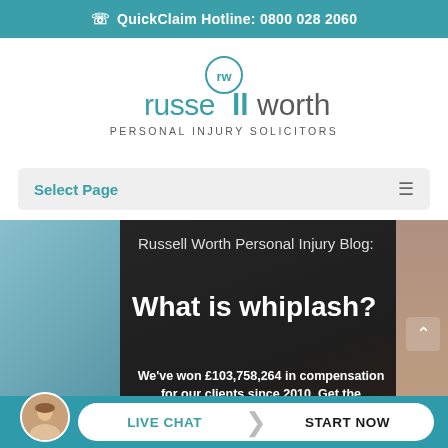QuickClaim Hotline: 0800 028 2060
[Figure (logo): Russell Worth Personal Injury Solicitors logo with teal 'rw' circle icon above stylized text]
Select Page
Russell Worth Personal Injury Blog: What is whiplash?
We've won £103,758,264 in compensation for our clients since 2010. Get the compensation you deserve.
LIVE CHAT  START NOW